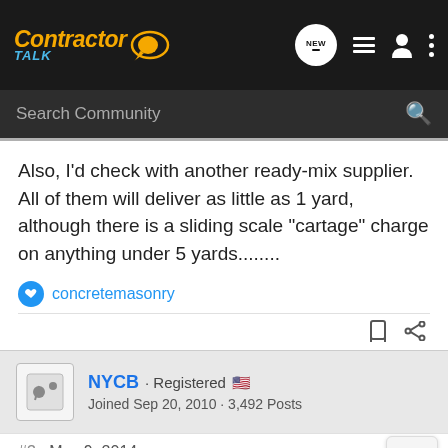Contractor Talk — NEW [nav icons]
Search Community
Also, I'd check with another ready-mix supplier. All of them will deliver as little as 1 yard, although there is a sliding scale "cartage" charge on anything under 5 yards........
concretemasonry
NYCB · Registered
Joined Sep 20, 2010 · 3,492 Posts
#3 · May 9, 2014
The premix bags aren't very good for finishing, they use the wrong aggregate here. Plenty strong, just a crappy finish.